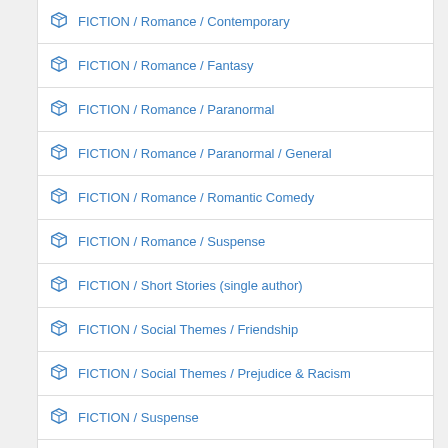FICTION / Romance / Contemporary
FICTION / Romance / Fantasy
FICTION / Romance / Paranormal
FICTION / Romance / Paranormal / General
FICTION / Romance / Romantic Comedy
FICTION / Romance / Suspense
FICTION / Short Stories (single author)
FICTION / Social Themes / Friendship
FICTION / Social Themes / Prejudice & Racism
FICTION / Suspense
FICTION / Thrillers